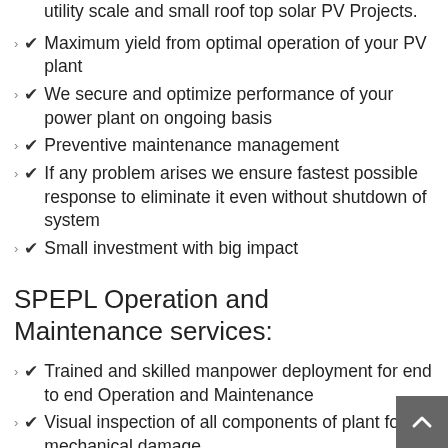utility scale and small roof top solar PV Projects.
Maximum yield from optimal operation of your PV plant
We secure and optimize performance of your power plant on ongoing basis
Preventive maintenance management
If any problem arises we ensure fastest possible response to eliminate it even without shutdown of system
Small investment with big impact
SPEPL Operation and Maintenance services:
Trained and skilled manpower deployment for end to end Operation and Maintenance
Visual inspection of all components of plant for mechanical damage